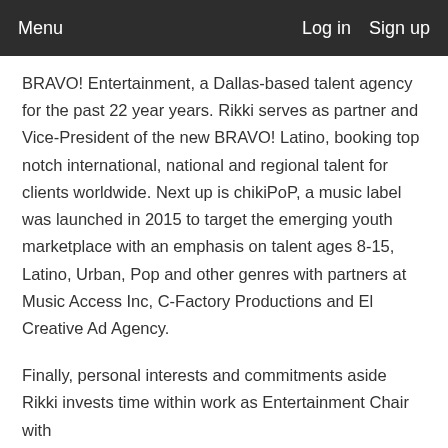Menu   Log in   Sign up
BRAVO! Entertainment, a Dallas-based talent agency for the past 22 year years. Rikki serves as partner and Vice-President of the new BRAVO! Latino, booking top notch international, national and regional talent for clients worldwide. Next up is chikiPoP, a music label was launched in 2015 to target the emerging youth marketplace with an emphasis on talent ages 8-15, Latino, Urban, Pop and other genres with partners at Music Access Inc, C-Factory Productions and El Creative Ad Agency.
Finally, personal interests and commitments aside Rikki invests time within work as Entertainment Chair with